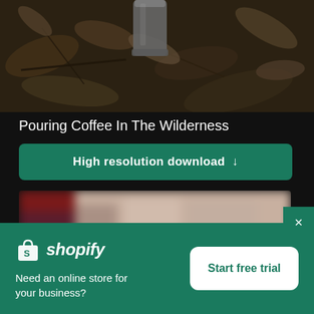[Figure (photo): Photograph of a metal thermos/mug on a forest floor covered with fallen leaves, twigs, and natural debris. Dark, earthy tones.]
Pouring Coffee In The Wilderness
High resolution download ↓
[Figure (photo): Blurred/obscured thumbnail image, appears to show a person in dark clothing against a light background. Image is heavily blurred.]
[Figure (logo): Shopify logo — shopping bag icon with 'S' and italic 'shopify' wordmark in white on green background]
Need an online store for your business?
Start free trial